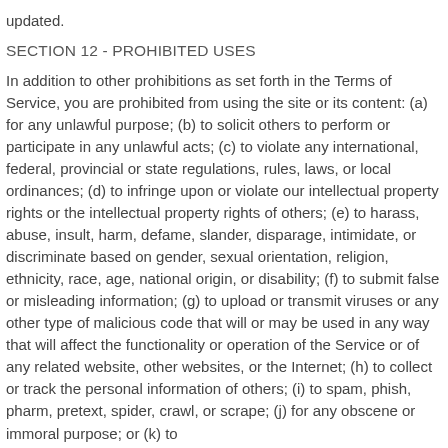updated.
SECTION 12 - PROHIBITED USES
In addition to other prohibitions as set forth in the Terms of Service, you are prohibited from using the site or its content: (a) for any unlawful purpose; (b) to solicit others to perform or participate in any unlawful acts; (c) to violate any international, federal, provincial or state regulations, rules, laws, or local ordinances; (d) to infringe upon or violate our intellectual property rights or the intellectual property rights of others; (e) to harass, abuse, insult, harm, defame, slander, disparage, intimidate, or discriminate based on gender, sexual orientation, religion, ethnicity, race, age, national origin, or disability; (f) to submit false or misleading information; (g) to upload or transmit viruses or any other type of malicious code that will or may be used in any way that will affect the functionality or operation of the Service or of any related website, other websites, or the Internet; (h) to collect or track the personal information of others; (i) to spam, phish, pharm, pretext, spider, crawl, or scrape; (j) for any obscene or immoral purpose; or (k) to